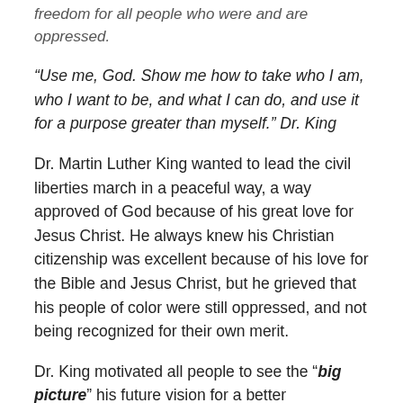freedom for all people who were and are oppressed.
“Use me, God. Show me how to take who I am, who I want to be, and what I can do, and use it for a purpose greater than myself.” Dr. King
Dr. Martin Luther King wanted to lead the civil liberties march in a peaceful way, a way approved of God because of his great love for Jesus Christ. He always knew his Christian citizenship was excellent because of his love for the Bible and Jesus Christ, but he grieved that his people of color were still oppressed, and not being recognized for their own merit.
Dr. King motivated all people to see the “big picture” his future vision for a better relationship between the races, all being accepted on their own self-worth.